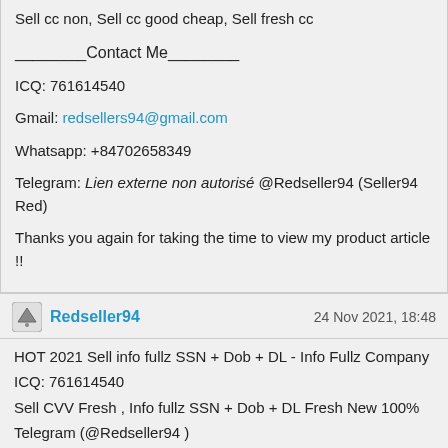Sell cc non, Sell cc good cheap, Sell fresh cc
________Contact Me________
ICQ: 761614540
Gmail: redsellers94@gmail.com
Whatsapp: +84702658349
Telegram: Lien externe non autorisé @Redseller94 (Seller94 Red)
Thanks you again for taking the time to view my product article !!
Redseller94   24 Nov 2021, 18:48
HOT 2021 Sell info fullz SSN + Dob + DL - Info Fullz Company
ICQ: 761614540
Sell CVV Fresh , Info fullz SSN + Dob + DL Fresh New 100%
Telegram (@Redseller94 )
HOT Unemployment CALI SAUCE AND IDME BYPASS
NEW CASHAPP METHOD